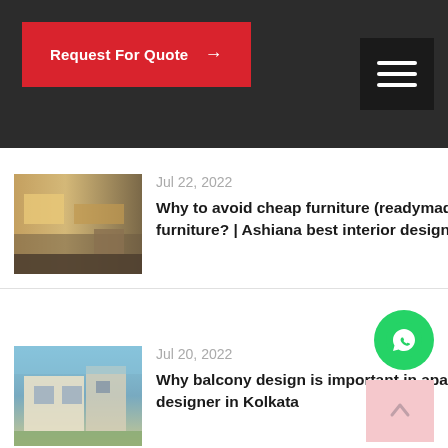Request For Quote →
Jul 22, 2022
[Figure (photo): Interior room with warm tones, furniture, kitchen or living space]
Why to avoid cheap furniture (readymade) for your home and invest in custom furniture? | Ashiana best interior designer in Kolkata
Jul 20, 2022
[Figure (photo): Exterior building view with balcony, modern apartment architecture]
Why balcony design is important in apartments? | Ashiana Best interior designer in Kolkata